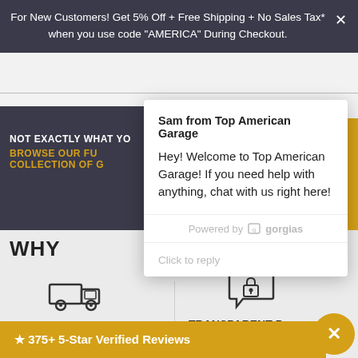For New Customers! Get 5% Off + Free Shipping + No Sales Tax* when you use code "AMERICA" During Checkout.
[Figure (screenshot): Background e-commerce page banner with dark background showing 'NOT EXACTLY WHAT YO...' and 'BROWSE OUR FU... COLLECTION OF G...' in orange text]
WHY
[Figure (illustration): Truck icon for Free Shipping]
FREE SHIPPING
Free Curbside Shipping
[Figure (illustration): Lock/padlock icon for Transparent Pricing]
TRANSPARENT P...
No Hidden Charges. ... Shipping & No ... de of Texas
[Figure (screenshot): Chat widget popup from Sam at Top American Garage offering help]
Sam from Top American Garage
Hey! Welcome to Top American Garage! If you need help with anything, chat with us right here!
Powered by gorgias
Click to reply
★ 375+ 5-Star Verified Reviews